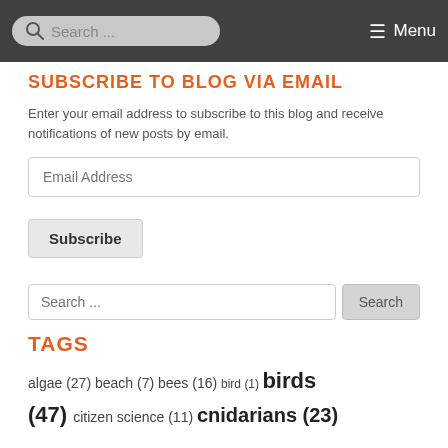Search ... Menu
SUBSCRIBE TO BLOG VIA EMAIL
Enter your email address to subscribe to this blog and receive notifications of new posts by email.
Email Address
Subscribe
Search ...
TAGS
algae (27) beach (7) bees (16) bird (1) birds (47) citizen science (11) cnidarians (23)